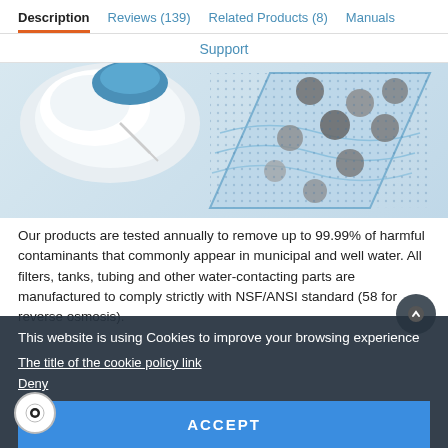Description  Reviews (139)  Related Products (8)  Manuals  Support
[Figure (photo): Product photo showing water filter components: a white cylindrical part on the left and a cross-section diagram of a filter membrane with dark grey circular particles on a blue patterned background on the right.]
Our products are tested annually to remove up to 99.99% of harmful contaminants that commonly appear in municipal and well water. All filters, tanks, tubing and other water-contacting parts are manufactured to comply strictly with NSF/ANSI standard (58 for reverse osmosis).
This website is using Cookies to improve your browsing experience
The title of the cookie policy link
Deny
ACCEPT